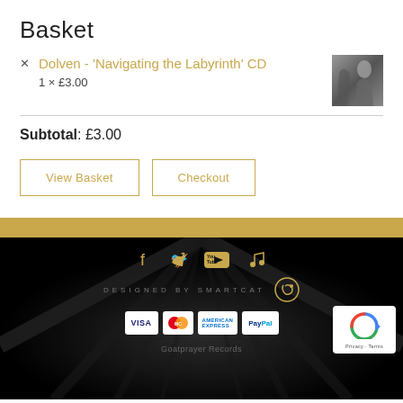Basket
Dolven - 'Navigating the Labyrinth' CD — 1 × £3.00
Subtotal: £3.00
View Basket | Checkout
[Figure (screenshot): Website footer with gold stripe, dark background with folded fabric texture, social media icons (Facebook, Twitter, YouTube, music note) in gold, 'DESIGNED BY SMARTCAT' text with logo, payment badges (VISA, MasterCard, American Express, PayPal), Goatprayer Records text, and reCAPTCHA badge]